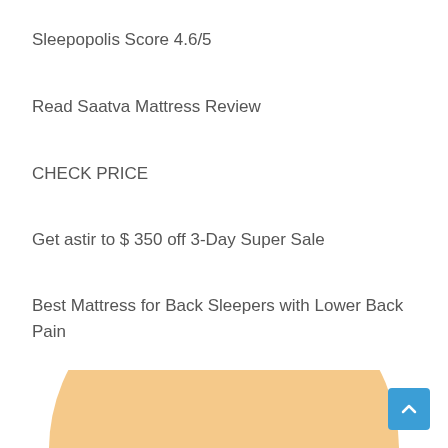Sleepopolis Score 4.6&sol;5
Read Saatva Mattress Review
CHECK PRICE
Get astir to $ 350 off 3-Day Super Sale
Best Mattress for Back Sleepers with Lower Back Pain
[Figure (illustration): Partial view of a large peach/tan colored circle (likely an illustration of a person sleeping), with dark navy/blue mattress or pillow element visible at the bottom center. A blue scroll-to-top button with an upward chevron is in the bottom right corner.]